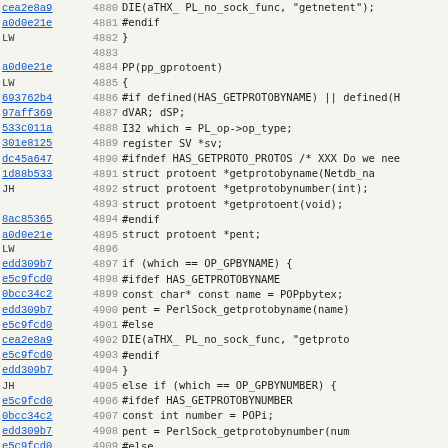[Figure (screenshot): Source code viewer showing lines 4880-4911 of a C/Perl file with commit hashes, line numbers, and code content including socket/network protocol functions.]